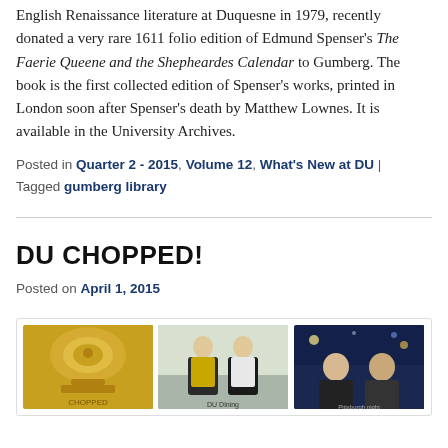English Renaissance literature at Duquesne in 1979, recently donated a very rare 1611 folio edition of Edmund Spenser's The Faerie Queene and the Shepheardes Calendar to Gumberg. The book is the first collected edition of Spenser's works, printed in London soon after Spenser's death by Matthew Lownes. It is available in the University Archives.
Posted in Quarter 2 - 2015, Volume 12, What's New at DU | Tagged gumberg library
DU CHOPPED!
Posted on April 1, 2015
[Figure (photo): Three photos in a gallery: a gold trophy/cup, two people in aprons in a cafeteria setting, and two young men at night.]